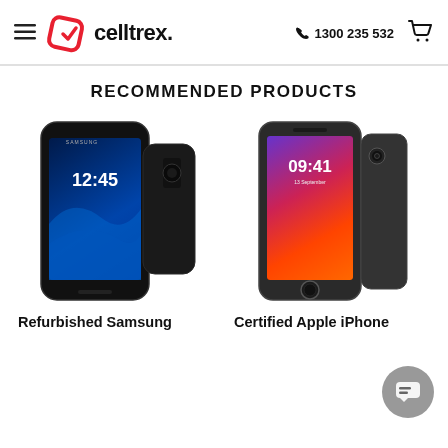celltrex. | 1300 235 532
RECOMMENDED PRODUCTS
[Figure (photo): Samsung Galaxy S7 smartphone showing 12:45 on lock screen, black color, front and back view]
[Figure (photo): Apple iPhone 8 showing 09:41 on lock screen, space grey color, front and back view]
Refurbished Samsung
Certified Apple iPhone